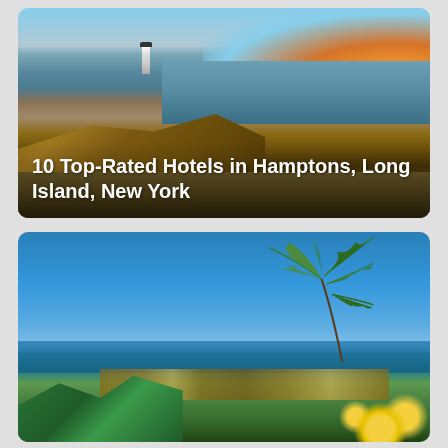[Figure (photo): Coastal cliff scene at sunset with a lighthouse on the left, dry golden grass and reeds in the foreground, and ocean water stretching to the right with warm orange and yellow sunset glow on the horizon]
10 Top-Rated Hotels in Hamptons, Long Island, New York
[Figure (photo): Tropical coastal scene with bright blue sky, palm fronds hanging from upper right, a distant coastal town with houses visible on a hillside, green vegetation in the foreground, and yellow flowers in the lower right corner]